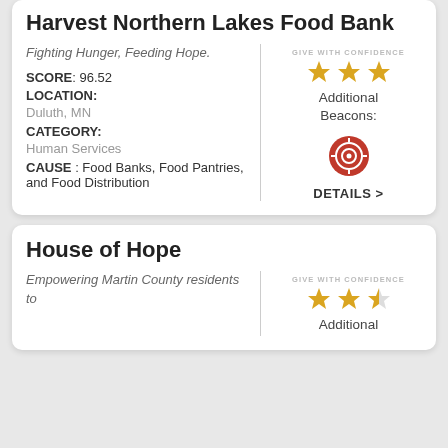Harvest Northern Lakes Food Bank
Fighting Hunger, Feeding Hope.
SCORE: 96.52
LOCATION: Duluth, MN
CATEGORY: Human Services
CAUSE : Food Banks, Food Pantries, and Food Distribution
[Figure (infographic): Give With Confidence badge with 3 gold stars and a target/beacon icon, with DETAILS > link]
House of Hope
Empowering Martin County residents to
[Figure (infographic): Give With Confidence badge with partial gold stars visible, Additional label]